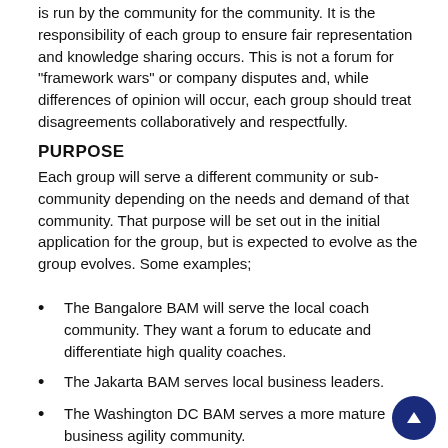is run by the community for the community. It is the responsibility of each group to ensure fair representation and knowledge sharing occurs. This is not a forum for "framework wars" or company disputes and, while differences of opinion will occur, each group should treat disagreements collaboratively and respectfully.
PURPOSE
Each group will serve a different community or sub-community depending on the needs and demand of that community. That purpose will be set out in the initial application for the group, but is expected to evolve as the group evolves. Some examples;
The Bangalore BAM will serve the local coach community. They want a forum to educate and differentiate high quality coaches.
The Jakarta BAM serves local business leaders.
The Washington DC BAM serves a more mature business agility community.